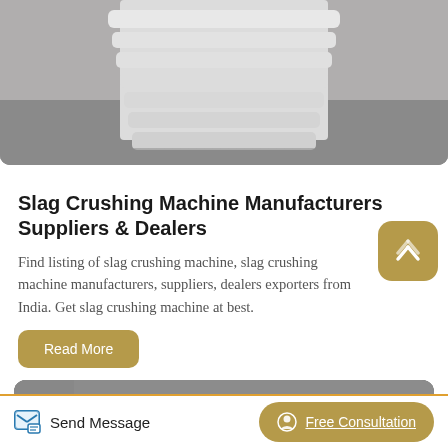[Figure (photo): Top portion of a white industrial component (slag crushing machine part) against a grey background]
Slag Crushing Machine Manufacturers Suppliers & Dealers
Find listing of slag crushing machine, slag crushing machine manufacturers, suppliers, dealers exporters from India. Get slag crushing machine at best.
Read More
[Figure (photo): Industrial slag crushing machine with large flywheels and red and yellow wheel components in a factory setting]
Send Message   Free Consultation